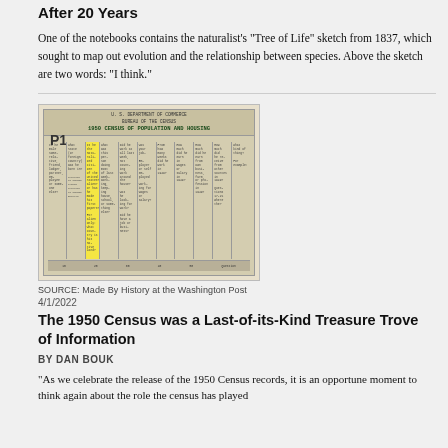After 20 Years
One of the notebooks contains the naturalist’s “Tree of Life” sketch from 1837, which sought to map out evolution and the relationship between species. Above the sketch are two words: “I think.”
[Figure (photo): A scan of the 1950 Census of Population and Housing form, showing multiple columns of questions with one column highlighted in yellow.]
SOURCE: Made By History at the Washington Post
4/1/2022
The 1950 Census was a Last-of-its-Kind Treasure Trove of Information
BY DAN BOUK
“As we celebrate the release of the 1950 Census records, it is an opportune moment to think again about the role the census has played